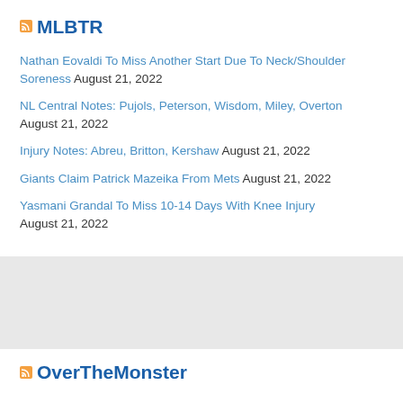MLBTR
Nathan Eovaldi To Miss Another Start Due To Neck/Shoulder Soreness August 21, 2022
NL Central Notes: Pujols, Peterson, Wisdom, Miley, Overton August 21, 2022
Injury Notes: Abreu, Britton, Kershaw August 21, 2022
Giants Claim Patrick Mazeika From Mets August 21, 2022
Yasmani Grandal To Miss 10-14 Days With Knee Injury August 21, 2022
OverTheMonster